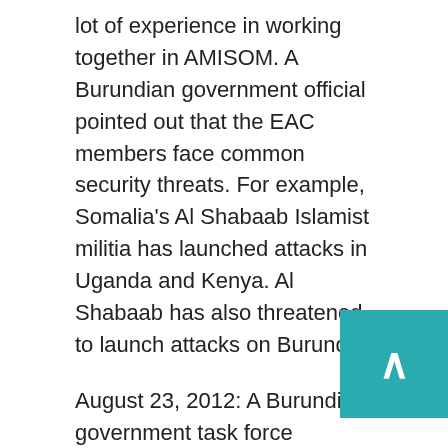lot of experience in working together in AMISOM. A Burundian government official pointed out that the EAC members face common security threats. For example, Somalia's Al Shabaab Islamist militia has launched attacks in Uganda and Kenya. Al Shabaab has also threatened to launch attacks on Burundi.
August 23, 2012: A Burundi government task force investigating reports of extrajudicial slayings reported that no extrajudicial murders had occurred. The task force said that it had not found a single credible report of an extrajudicial execution.
August 16, 2012: Rwandan opposition leaders from the United Democratic Forces (FDU) have asked the International Criminal Court (ICC) to investigate Rwandan president Paul Kagame on charges of committing war crimes in the eastern Congo. The accuser cited a UN report that found evidence that